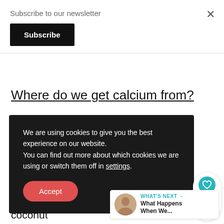Subscribe to our newsletter
Subscribe
Where do we get calcium from?
We are using cookies to give you the best experience on our website. You can find out more about which cookies we are using or switch them off in settings.
Accept
possible to consume calcium from different types of sources like:
Dairy free milk (almond milk, soy milk, coconut
WHAT'S NEXT → What Happens When We...